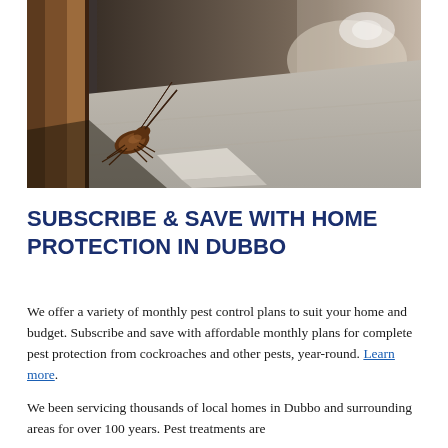[Figure (photo): Close-up photo of a cockroach near a wooden door frame on a tiled floor, with a blurred indoor hallway in the background.]
SUBSCRIBE & SAVE WITH HOME PROTECTION IN DUBBO
We offer a variety of monthly pest control plans to suit your home and budget. Subscribe and save with affordable monthly plans for complete pest protection from cockroaches and other pests, year-round. Learn more.
We been servicing thousands of local homes in Dubbo and surrounding areas for over 100 years. Pest treatments are...